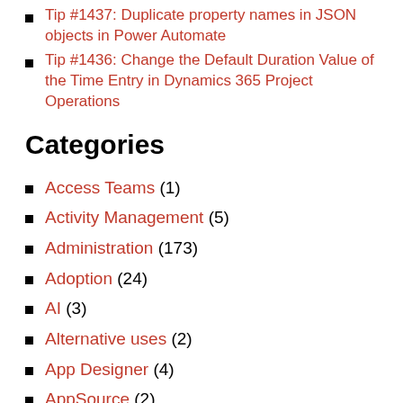Tip #1437: Duplicate property names in JSON objects in Power Automate
Tip #1436: Change the Default Duration Value of the Time Entry in Dynamics 365 Project Operations
Categories
Access Teams (1)
Activity Management (5)
Administration (173)
Adoption (24)
AI (3)
Alternative uses (2)
App Designer (4)
AppSource (2)
Attachments (2)
Audit (2)
Azure (6)
Case Management (7)
Charts (9)